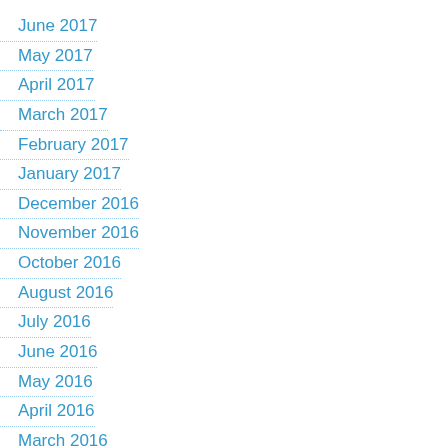June 2017
May 2017
April 2017
March 2017
February 2017
January 2017
December 2016
November 2016
October 2016
August 2016
July 2016
June 2016
May 2016
April 2016
March 2016
February 2016
January 2016
December 2015
November 2015
October 2015